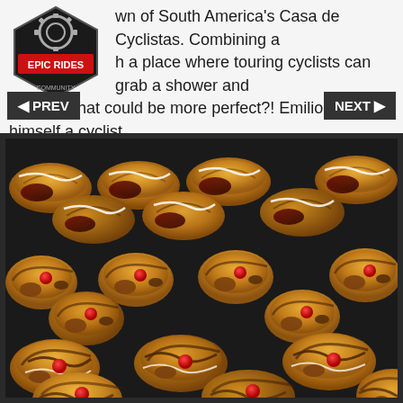best known of South America's Casa de Cyclistas. Combining a hostel with a place where touring cyclists can grab a shower and sleep — what could be more perfect?! Emilio is himself a cyclist and world traveller, and has been hosting cyclists for many years
[Figure (photo): A tray of assorted pastries including croissants with white icing drizzle, red cherry toppings, chocolate drizzle, and caramel/chocolate chips, arranged in rows on a dark baking tray.]